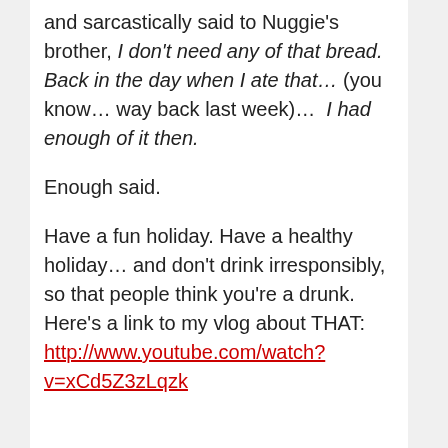and sarcastically said to Nuggie's brother, I don't need any of that bread. Back in the day when I ate that… (you know… way back last week)…  I had enough of it then.
Enough said.
Have a fun holiday. Have a healthy holiday… and don't drink irresponsibly, so that people think you're a drunk. Here's a link to my vlog about THAT: http://www.youtube.com/watch?v=xCd5Z3zLqzk
photo credit: distopiandreamgirl / Foter.com / CC BY-NC-